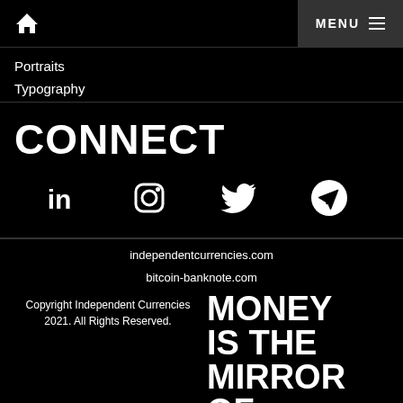MENU
Portraits
Typography
CONNECT
[Figure (illustration): Social media icons: LinkedIn, Instagram, Twitter, Telegram]
independentcurrencies.com
bitcoin-banknote.com
Copyright Independent Currencies 2021. All Rights Reserved.
MONEY IS THE MIRROR OF HUMANITY